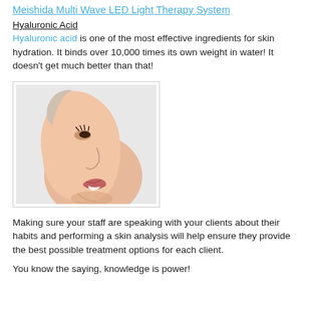Meishida Multi Wave LED Light Therapy System
Hyaluronic Acid
Hyaluronic acid is one of the most effective ingredients for skin hydration. It binds over 10,000 times its own weight in water! It doesn't get much better than that!
[Figure (photo): Close-up side profile of a woman's face looking upward, showing smooth skin, with a light gray background.]
Making sure your staff are speaking with your clients about their habits and performing a skin analysis will help ensure they provide the best possible treatment options for each client.
You know the saying, knowledge is power!